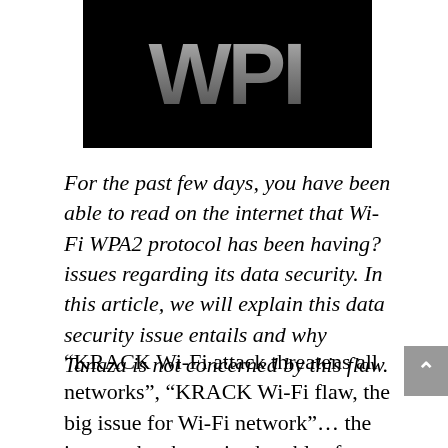[Figure (logo): WPI logo — large white/gray metallic letters 'WPI' on black background, partially cropped on right]
For the past few days, you have been able to read on the internet that Wi-Fi WPA2 protocol has been having? issues regarding its data security. In this article, we will explain this data security issue entails and why Tanaza is not concerned by this flaw.
“KRACK Wi-Fi attack threatens all networks”, “KRACK Wi-Fi flaw, the big issue for Wi-Fi network”… the internet has been  in shambles for ten days due to the flaw discovery on the Wi-Fi